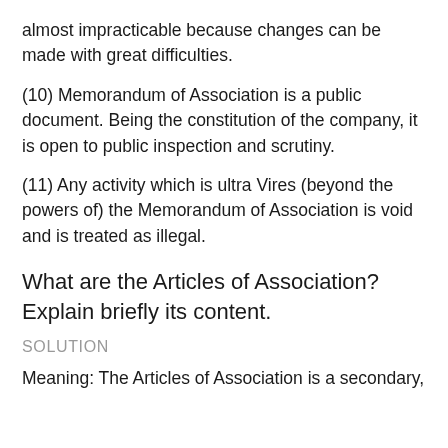almost impracticable because changes can be made with great difficulties.
(10) Memorandum of Association is a public document. Being the constitution of the company, it is open to public inspection and scrutiny.
(11) Any activity which is ultra Vires (beyond the powers of) the Memorandum of Association is void and is treated as illegal.
What are the Articles of Association? Explain briefly its content.
SOLUTION
Meaning: The Articles of Association is a secondary,